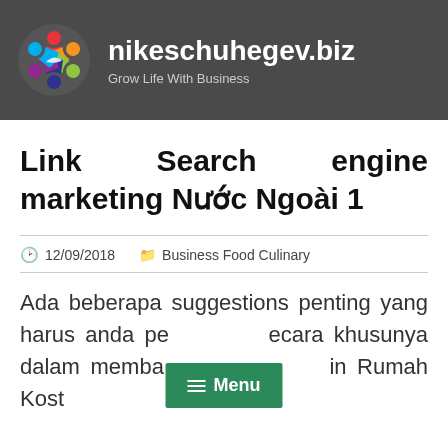[Figure (logo): Colorful circular logo with people figures in various colors on dark background header]
nikeschuhegev.biz
Grow Life With Business
Link Search engine marketing Nước Ngoài 1
12/09/2018   Business Food Culinary
Ada beberapa suggestions penting yang harus anda pe...ecara khusunya dalam memba... in Rumah Kost
[Figure (screenshot): Green menu button overlay with hamburger icon and Menu text]